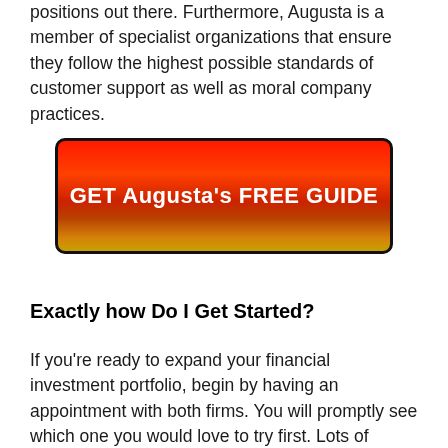positions out there. Furthermore, Augusta is a member of specialist organizations that ensure they follow the highest possible standards of customer support as well as moral company practices.
[Figure (other): Red-to-orange gradient call-to-action button with text: GET Augusta's FREE GUIDE]
Exactly how Do I Get Started?
If you're ready to expand your financial investment portfolio, begin by having an appointment with both firms. You will promptly see which one you would love to try first. Lots of financiers have different companies benefiting them till they find their